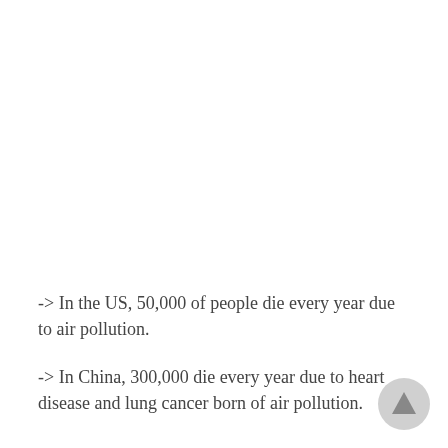-> In the US, 50,000 of people die every year due to air pollution.
-> In China, 300,000 die every year due to heart disease and lung cancer born of air pollution.